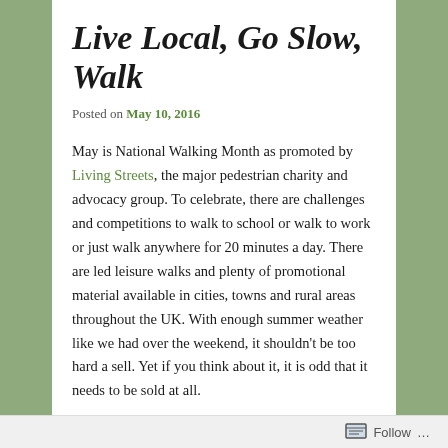Live Local, Go Slow, Walk
Posted on May 10, 2016
May is National Walking Month as promoted by Living Streets, the major pedestrian charity and advocacy group. To celebrate, there are challenges and competitions to walk to school or walk to work or just walk anywhere for 20 minutes a day. There are led leisure walks and plenty of promotional material available in cities, towns and rural areas throughout the UK. With enough summer weather like we had over the weekend, it shouldn't be too hard a sell. Yet if you think about it, it is odd that it needs to be sold at all.
Follow